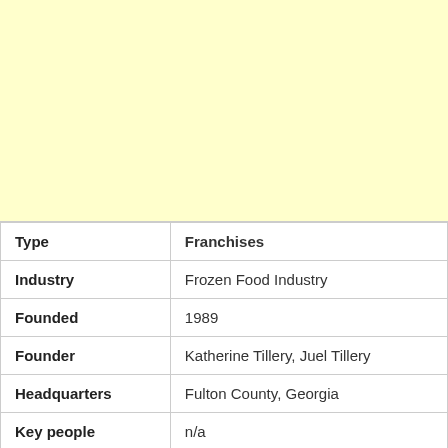[Figure (other): Yellow placeholder image area]
| Type | Franchises |
| Industry | Frozen Food Industry |
| Founded | 1989 |
| Founder | Katherine Tillery, Juel Tillery |
| Headquarters | Fulton County, Georgia |
| Key people | n/a |